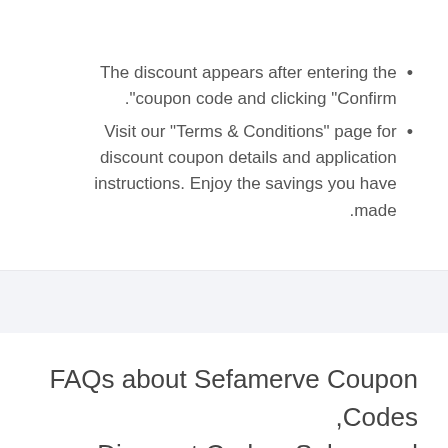The discount appears after entering the coupon code and clicking "Confirm".
Visit our "Terms & Conditions" page for discount coupon details and application instructions. Enjoy the savings you have made.
FAQs about Sefamerve Coupon Codes, Discount Codes, Sales, and Promo codes in UAE